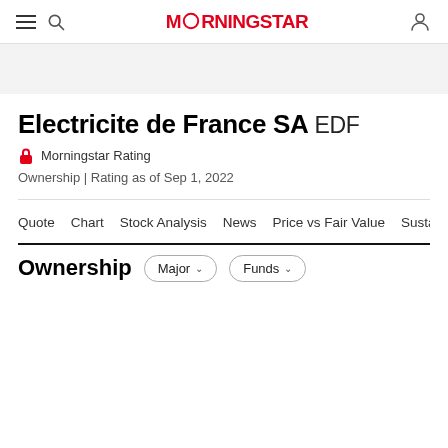Morningstar
Electricite de France SA EDF
Morningstar Rating
Ownership | Rating as of Sep 1, 2022
Quote  Chart  Stock Analysis  News  Price vs Fair Value  Sustai
Ownership
Major  Funds